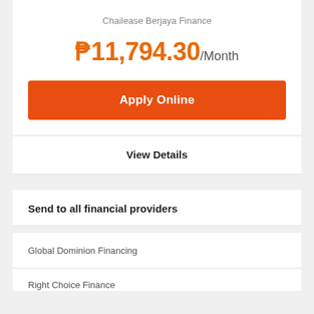Chailease Berjaya Finance
₱11,794.30/Month
Apply Online
View Details
Send to all financial providers
Global Dominion Financing
Right Choice Finance